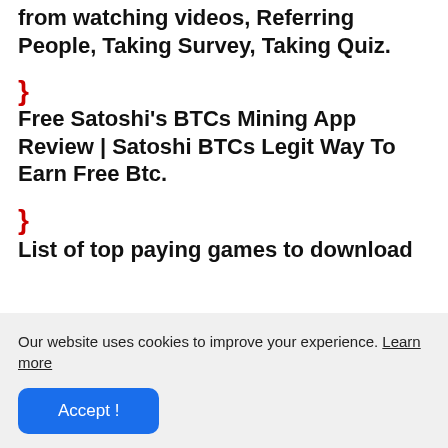from watching videos, Referring People, Taking Survey, Taking Quiz.
}
Free Satoshi's BTCs Mining App Review | Satoshi BTCs Legit Way To Earn Free Btc.
}
List of top paying games to download
Our website uses cookies to improve your experience. Learn more
Accept !